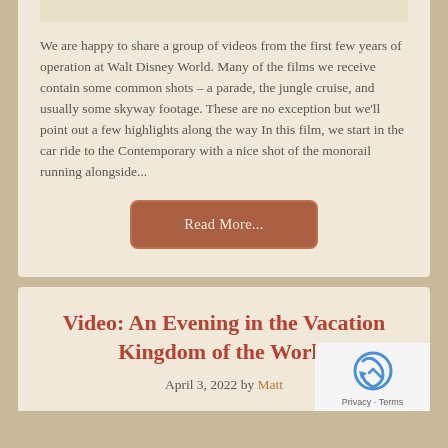We are happy to share a group of videos from the first few years of operation at Walt Disney World. Many of the films we receive contain some common shots – a parade, the jungle cruise, and usually some skyway footage. These are no exception but we'll point out a few highlights along the way In this film, we start in the car ride to the Contemporary with a nice shot of the monorail running alongside...
Read More...
Video: An Evening in the Vacation Kingdom of the World
April 3, 2022 by Matt